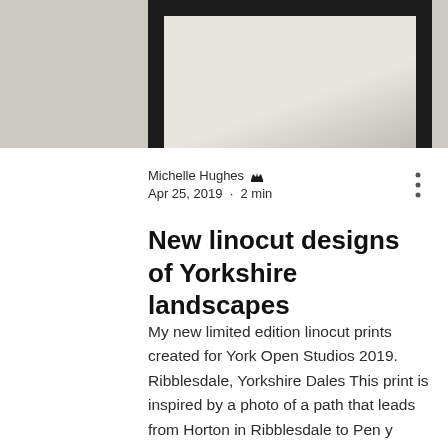[Figure (photo): Partial photo of a framed artwork on a wall, showing the dark frame and light-colored artwork interior, with a beige/grey wall background]
Michelle Hughes 👑
Apr 25, 2019 · 2 min
New linocut designs of Yorkshire landscapes
My new limited edition linocut prints created for York Open Studios 2019. Ribblesdale, Yorkshire Dales This print is inspired by a photo of a path that leads from Horton in Ribblesdale to Pen y Gent. See more about my Riblesdale linocut print here. Hutton le Hole, North York Moors One of my favourite places as I often do yoga